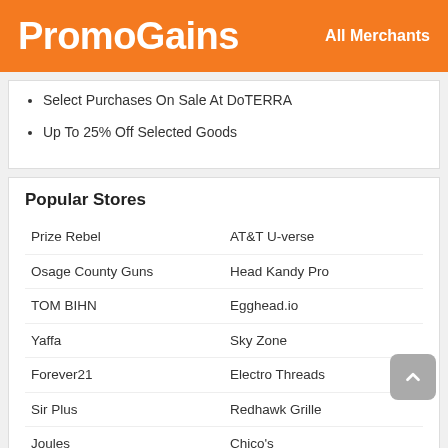PromoGains   All Merchants
Select Purchases On Sale At DoTERRA
Up To 25% Off Selected Goods
Popular Stores
Prize Rebel
AT&T U-verse
Osage County Guns
Head Kandy Pro
TOM BIHN
Egghead.io
Yaffa
Sky Zone
Forever21
Electro Threads
Sir Plus
Redhawk Grille
Joules
Chico's
Lakeside Collection
Macys